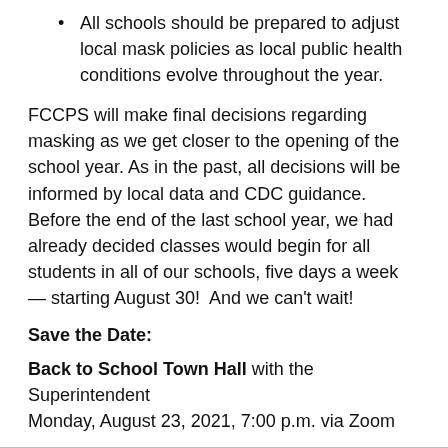All schools should be prepared to adjust local mask policies as local public health conditions evolve throughout the year.
FCCPS will make final decisions regarding masking as we get closer to the opening of the school year. As in the past, all decisions will be informed by local data and CDC guidance. Before the end of the last school year, we had already decided classes would begin for all students in all of our schools, five days a week — starting August 30!  And we can't wait!
Save the Date:
Back to School Town Hall with the Superintendent
Monday, August 23, 2021, 7:00 p.m. via Zoom